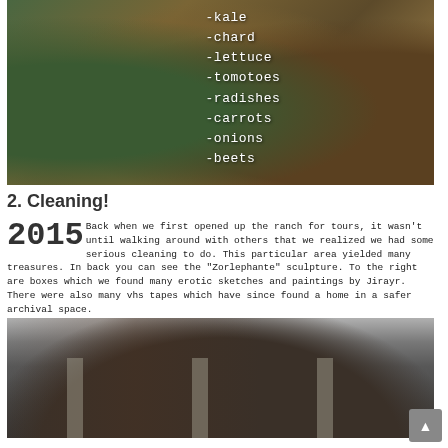[Figure (photo): Garden photo with white text overlay listing vegetables: -kale, -chard, -lettuce, -tomotoes, -radishes, -carrots, -onions, -beets, :-)]
2. Cleaning!
2015 Back when we first opened up the ranch for tours, it wasn't until walking around with others that we realized we had some serious cleaning to do. This particular area yielded many treasures. In back you can see the "Zorlephante" sculpture. To the right are boxes which we found many erotic sketches and paintings by Jirayr. There were also many vhs tapes which have since found a home in a safer archival space.
[Figure (photo): Photo of a cluttered storage area or garage with concrete pillars, boxes, and miscellaneous items piled up.]